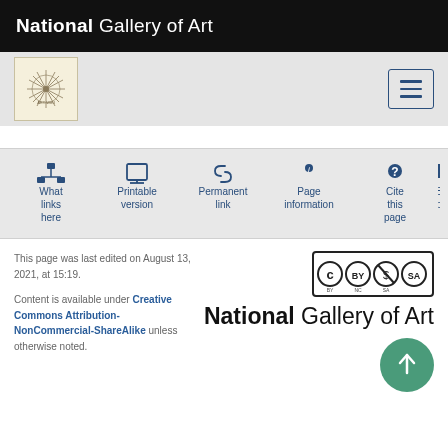National Gallery of Art
[Figure (logo): Small circular compass/artwork logo thumbnail]
What links here
Printable version
Permanent link
Page information
Cite this page
This page was last edited on August 13, 2021, at 15:19.
Content is available under Creative Commons Attribution-NonCommercial-ShareAlike unless otherwise noted.
[Figure (logo): Creative Commons BY NC SA license badge]
[Figure (logo): National Gallery of Art large logo text]
[Figure (illustration): Green circular scroll-to-top button with upward arrow]